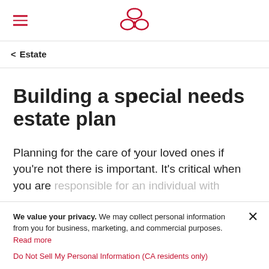≡ [logo]
< Estate
Building a special needs estate plan
Planning for the care of your loved ones if you're not there is important. It's critical when you are responsible for an individual with special needs
We value your privacy. We may collect personal information from you for business, marketing, and commercial purposes. Read more
Do Not Sell My Personal Information (CA residents only)